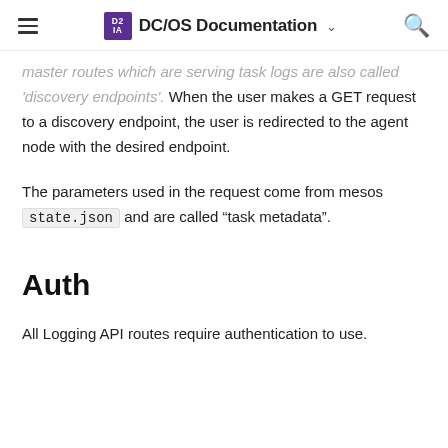DC/OS Documentation
master routes which are serving task logs are also called 'discovery endpoints'. When the user makes a GET request to a discovery endpoint, the user is redirected to the agent node with the desired endpoint.
The parameters used in the request come from mesos state.json and are called “task metadata”.
Auth
All Logging API routes require authentication to use.